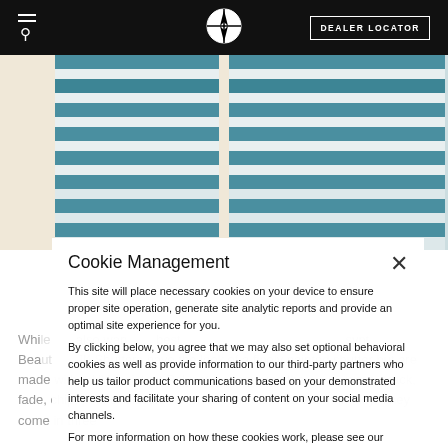[Figure (screenshot): Top navigation bar with hamburger/search icon on left, compass logo in center, and DEALER LOCATOR button on right, on black background]
[Figure (photo): Photo of window blinds/shutters in teal/blue and white horizontal stripes, with window frames visible]
Cookie Management
This site will place necessary cookies on your device to ensure proper site operation, generate site analytic reports and provide an optimal site experience for you.
By clicking below, you agree that we may also set optional behavioral cookies as well as provide information to our third-party partners who help us tailor product communications based on your demonstrated interests and facilitate your sharing of content on your social media channels.
For more information on how these cookies work, please see our privacy policy.
ACCEPT